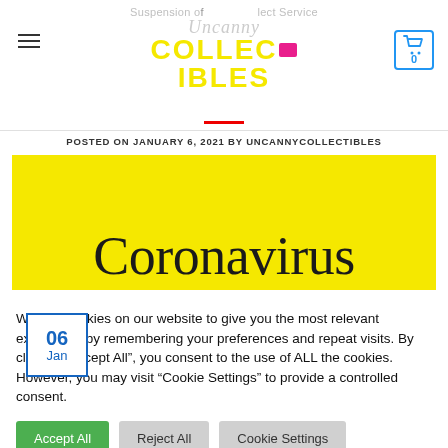Suspension of Collect Service | Uncanny Collectibles
POSTED ON JANUARY 6, 2021 BY UNCANNYCOLLECTIBLES
[Figure (photo): Yellow background featured image with date badge (06 Jan) and large text 'Coronavirus']
We use cookies on our website to give you the most relevant experience by remembering your preferences and repeat visits. By clicking "Accept All", you consent to the use of ALL the cookies. However, you may visit "Cookie Settings" to provide a controlled consent.